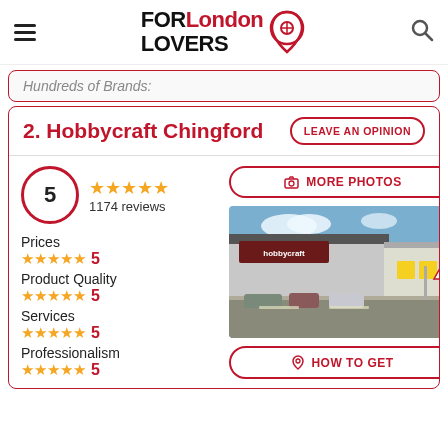FOR London LOVERS
Hundreds of Brands:
2. Hobbycraft Chingford
LEAVE AN OPINION
5 ★★★★★ 1174 reviews
MORE PHOTOS
Prices ★★★★★ 5
Product Quality ★★★★★ 5
Services ★★★★★ 5
Professionalism ★★★★★ 5
[Figure (photo): Exterior photo of Hobbycraft Chingford store in a retail park, showing the hobbycraft sign on the building facade with parked cars in front and blue sky]
HOW TO GET